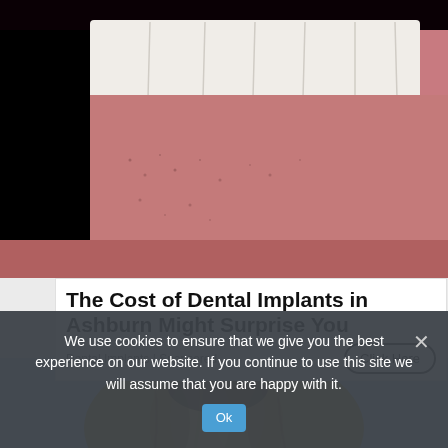[Figure (photo): Close-up photo of a person smiling showing white dental implants, with dark background on left and stubble visible on chin]
The Cost of Dental Implants in Ashburn Might Surprise You
Dental Implants | Sponsored
[Figure (photo): Top of blonde woman's head with highlighted hair against light blue/lavender background]
We use cookies to ensure that we give you the best experience on our website. If you continue to use this site we will assume that you are happy with it.